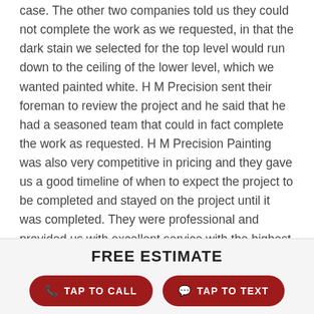case. The other two companies told us they could not complete the work as we requested, in that the dark stain we selected for the top level would run down to the ceiling of the lower level, which we wanted painted white. H M Precision sent their foreman to review the project and he said that he had a seasoned team that could in fact complete the work as requested. H M Precision Painting was also very competitive in pricing and they gave us a good timeline of when to expect the project to be completed and stayed on the project until it was completed. They were professional and provided us with excellent service with the highest quality results. Our decks look
FREE ESTIMATE
TAP TO CALL
TAP TO TEXT